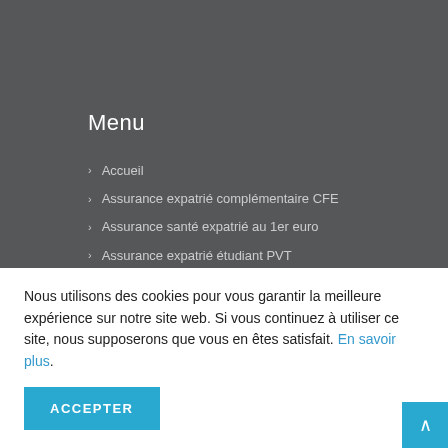Menu
Accueil
Assurance expatrié complémentaire CFE
Assurance santé expatrié au 1er euro
Assurance expatrié étudiant PVT
Assurance santé expatrié retraité
Assurance temporaire
Nous utilisons des cookies pour vous garantir la meilleure expérience sur notre site web. Si vous continuez à utiliser ce site, nous supposerons que vous en êtes satisfait. En savoir plus.